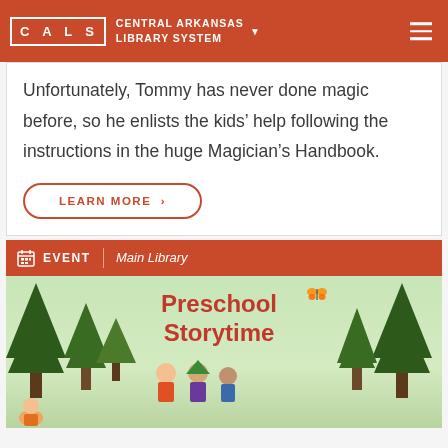CALS CENTRAL ARKANSAS LIBRARY SYSTEM
Unfortunately, Tommy has never done magic before, so he enlists the kids' help following the instructions in the huge Magician's Handbook.
LEARN MORE >
EVENT  Main Library
[Figure (illustration): Preschool Storytime event card with illustrated trees and children characters in a forest setting]